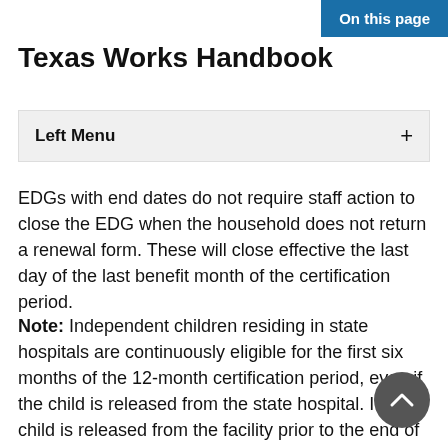On this page
Texas Works Handbook
Left Menu
EDGs with end dates do not require staff action to close the EDG when the household does not return a renewal form. These will close effective the last day of the last benefit month of the certification period.
Note: Independent children residing in state hospitals are continuously eligible for the first six months of the 12-month certification period, even if the child is released from the state hospital. If a child is released from the facility prior to the end of the six-month period, process the address change and continue